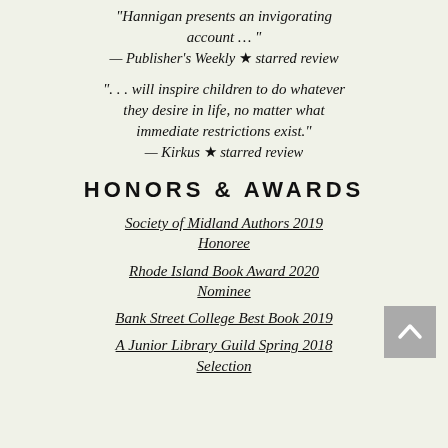“Hannigan presents an invigorating account … ” — Publisher’s Weekly ★ starred review
“… will inspire children to do whatever they desire in life, no matter what immediate restrictions exist.” — Kirkus ★ starred review
HONORS & AWARDS
Society of Midland Authors 2019 Honoree
Rhode Island Book Award 2020 Nominee
Bank Street College Best Book 2019
A Junior Library Guild Spring 2018 Selection